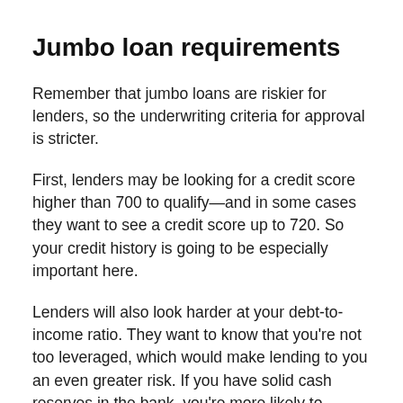Jumbo loan requirements
Remember that jumbo loans are riskier for lenders, so the underwriting criteria for approval is stricter.
First, lenders may be looking for a credit score higher than 700 to qualify—and in some cases they want to see a credit score up to 720. So your credit history is going to be especially important here.
Lenders will also look harder at your debt-to-income ratio. They want to know that you're not too leveraged, which would make lending to you an even greater risk. If you have solid cash reserves in the bank, you're more likely to qualify. Some lenders might ask for a